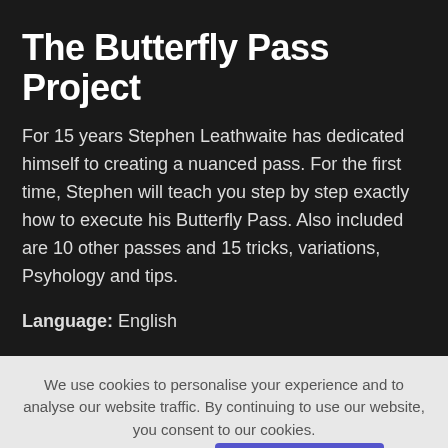The Butterfly Pass Project
For 15 years Stephen Leathwaite has dedicated himself to creating a nuanced pass. For the first time, Stephen will teach you step by step exactly how to execute his Butterfly Pass. Also included are 10 other passes and 15 tricks, variations, Psyhology and tips.
Language: English
We use cookies to personalise your experience and to analyse our website traffic. By continuing to use our website, you consent to our cookies.
View privacy policy
Accept cookies